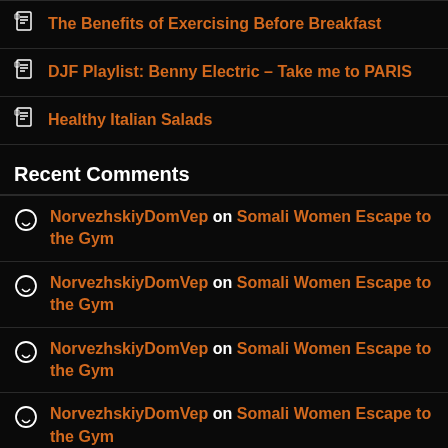The Benefits of Exercising Before Breakfast
DJF Playlist: Benny Electric – Take me to PARIS
Healthy Italian Salads
Recent Comments
NorvezhskiyDomVep on Somali Women Escape to the Gym
NorvezhskiyDomVep on Somali Women Escape to the Gym
NorvezhskiyDomVep on Somali Women Escape to the Gym
NorvezhskiyDomVep on Somali Women Escape to the Gym